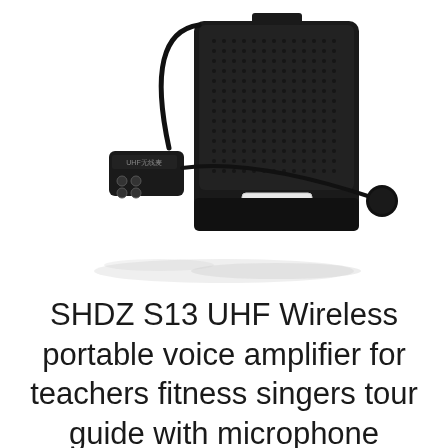[Figure (photo): SHDZ S13 UHF wireless voice amplifier product photo showing a black portable speaker/amplifier unit with a UHF wireless headset microphone. The amplifier is a rectangular black box with a mesh speaker grille and an SHDZ logo badge. The wireless headset transmitter unit is shown in front with control buttons and a flexible boom microphone with a round microphone head.]
SHDZ S13 UHF Wireless portable voice amplifier for teachers fitness singers tour guide with microphone headse